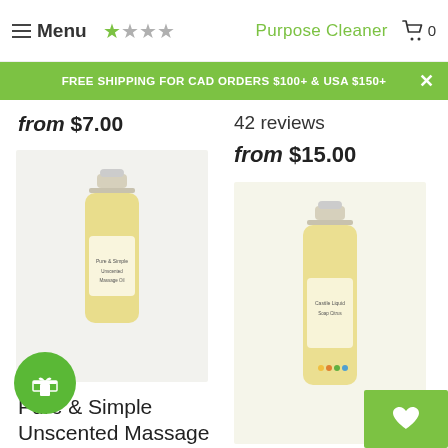Menu | Purpose Cleaner | Cart 0
FREE SHIPPING FOR CAD ORDERS $100+ & USA $150+
from $7.00
42 reviews
from $15.00
[Figure (photo): Bottle of Pure & Simple Unscented Massage Oil]
[Figure (photo): Bottle of Castile Liquid Soap in Citrus Twist]
Pure & Simple Unscented Massage Oil
★★★★★ 12
Castile Liquid Soap in Citrus Twist
★★★★★